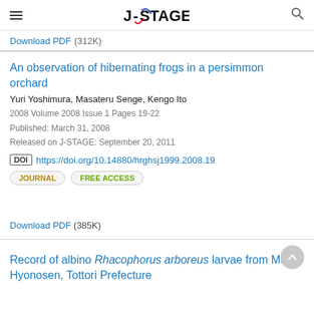J-STAGE
Download PDF (312K)
An observation of hibernating frogs in a persimmon orchard
Yuri Yoshimura, Masateru Senge, Kengo Ito
2008 Volume 2008 Issue 1 Pages 19-22
Published: March 31, 2008
Released on J-STAGE: September 20, 2011
DOI https://doi.org/10.14880/hrghsj1999.2008.19
JOURNAL  FREE ACCESS
Download PDF (385K)
Record of albino Rhacophorus arboreus larvae from Mt. Hyonosen, Tottori Prefecture